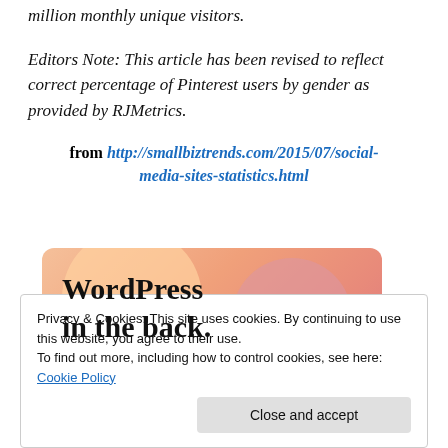million monthly unique visitors.
Editors Note: This article has been revised to reflect correct percentage of Pinterest users by gender as provided by RJMetrics.
from http://smallbiztrends.com/2015/07/social-media-sites-statistics.html
[Figure (illustration): WordPress in the back. Banner image with orange/pink gradient background and decorative circles.]
Privacy & Cookies: This site uses cookies. By continuing to use this website, you agree to their use.
To find out more, including how to control cookies, see here: Cookie Policy
Close and accept